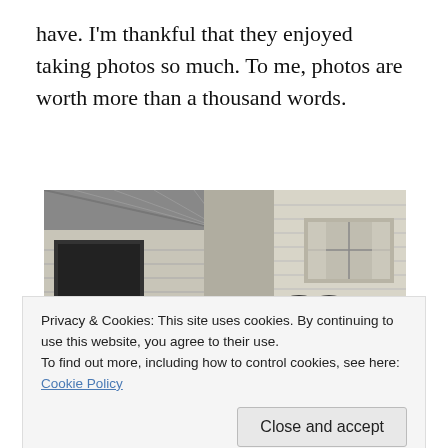have. I'm thankful that they enjoyed taking photos so much. To me, photos are worth more than a thousand words.
[Figure (photo): Vintage black and white photograph showing a woman with curly hair smiling and leaning toward another person wearing a dark hat, in front of a house with horizontal siding and windows with curtains.]
Privacy & Cookies: This site uses cookies. By continuing to use this website, you agree to their use.
To find out more, including how to control cookies, see here: Cookie Policy